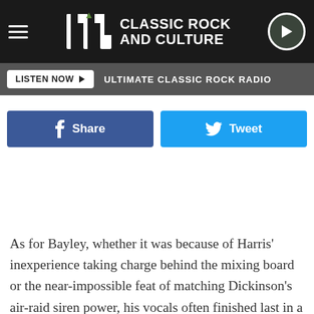UCR Classic Rock and Culture
LISTEN NOW  ULTIMATE CLASSIC ROCK RADIO
Share
Tweet
As for Bayley, whether it was because of Harris' inexperience taking charge behind the mixing board or the near-impossible feat of matching Dickinson's air-raid siren power, his vocals often finished last in a race to keep up with the instruments